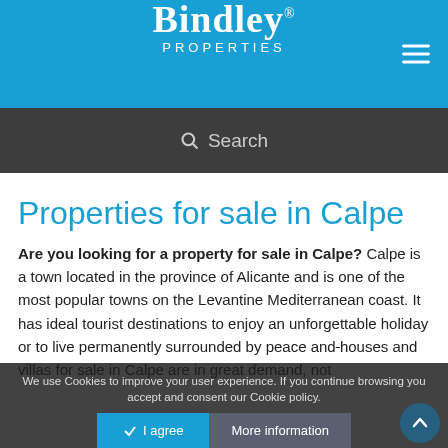Bindley® PROPERTIES
Search
Properties for sale in Calpe
Are you looking for a property for sale in Calpe? Calpe is a town located in the province of Alicante and is one of the most popular towns on the Levantine Mediterranean coast. It has ideal tourist destinations to enjoy an unforgettable holiday or to live permanently surrounded by peace and ... houses and villas for sale in Calpe are in great demand, not
We use Cookies to improve your user experience. If you continue browsing you accept and consent our Cookie policy. I agree  More information